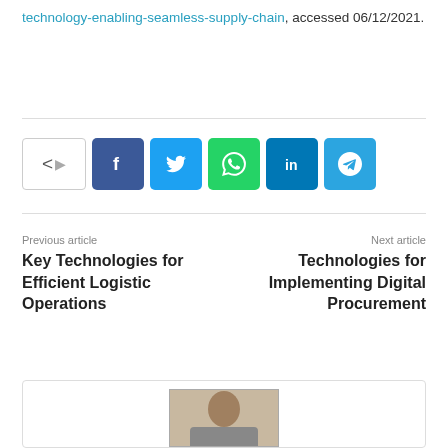technology-enabling-seamless-supply-chain, accessed 06/12/2021.
[Figure (other): Social media share buttons: share toggle, Facebook, Twitter, WhatsApp, LinkedIn, Telegram]
Previous article
Key Technologies for Efficient Logistic Operations
Next article
Technologies for Implementing Digital Procurement
[Figure (photo): Author photo (partial, cropped at bottom of page)]